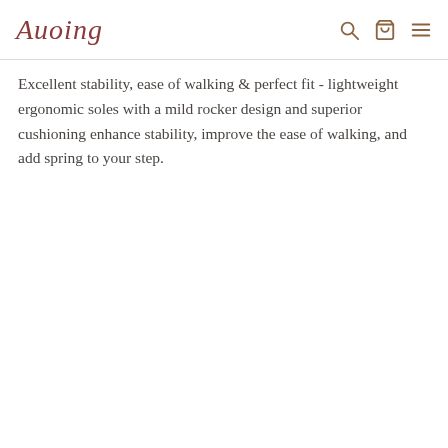Auoing
Excellent stability, ease of walking & perfect fit - lightweight ergonomic soles with a mild rocker design and superior cushioning enhance stability, improve the ease of walking, and add spring to your step.